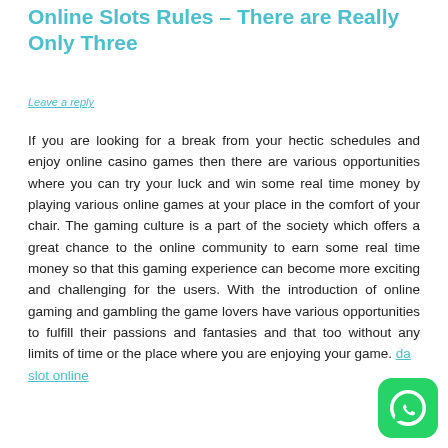Online Slots Rules – There are Really Only Three
Leave a reply
If you are looking for a break from your hectic schedules and enjoy online casino games then there are various opportunities where you can try your luck and win some real time money by playing various online games at your place in the comfort of your chair. The gaming culture is a part of the society which offers a great chance to the online community to earn some real time money so that this gaming experience can become more exciting and challenging for the users. With the introduction of online gaming and gambling the game lovers have various opportunities to fulfill their passions and fantasies and that too without any limits of time or the place where you are enjoying your game. daftar slot online
[Figure (logo): WhatsApp green rounded square button icon]